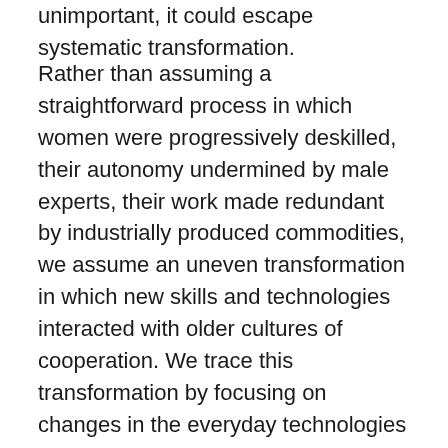unimportant, it could escape systematic transformation.
Rather than assuming a straightforward process in which women were progressively deskilled, their autonomy undermined by male experts, their work made redundant by industrially produced commodities, we assume an uneven transformation in which new skills and technologies interacted with older cultures of cooperation. We trace this transformation by focusing on changes in the everyday technologies that are involved in the work of “people-making.” We are thinking, for example, of how breast pumps, formula, and plastic bottles make it possible to disperse the work of nursing across time and space, or how cell phones and tracker wristbands allow Chinese migrant parents to be involved in child raising from a distance. Such arrangements are part of larger material and organizational infrastructures that have become